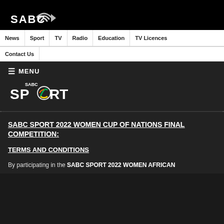[Figure (logo): SABC logo — white text and signal/wifi arc icon on black background]
News | Sport | TV | Radio | Education | TV Licences | Contact Us
[Figure (logo): SABC Sport logo — multicolor O in SPORT with SABC text above, on dark background]
SABC SPORT 2022 WOMEN CUP OF NATIONS FINAL COMPETITION:
TERMS AND CONDITIONS
By participating in the SABC SPORT 2022 WOMEN AFRICAN